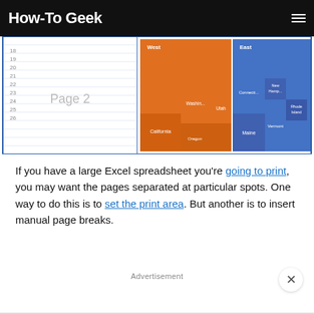How-To Geek
[Figure (screenshot): Screenshot of an Excel spreadsheet showing page break preview with 'Page 2' label on the left side and a treemap chart on the right with orange (West) and blue (East) regions showing states like California, Idaho, Oregon, Washington, Utah, Maine, Vermont, Connecticut, New Hampshire, Rhode Island.]
If you have a large Excel spreadsheet you're going to print, you may want the pages separated at particular spots. One way to do this is to set the print area. But another is to insert manual page breaks.
Advertisement